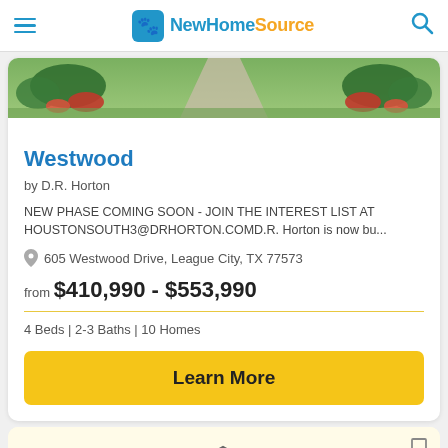NewHomeSource
[Figure (photo): Aerial/ground view of home entrance with red flowers and driveway lined with greenery]
Westwood
by D.R. Horton
NEW PHASE COMING SOON - JOIN THE INTEREST LIST AT HOUSTONSOUTH3@DRHORTON.COMD.R. Horton is now bu...
605 Westwood Drive, League City, TX 77573
from $410,990 - $553,990
4 Beds | 2-3 Baths | 10 Homes
Learn More
[Figure (illustration): Line drawing illustration of a house with chimney]